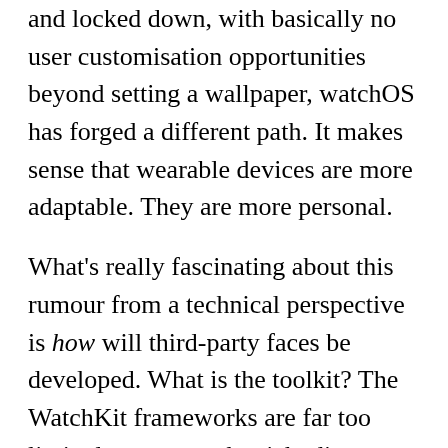and locked down, with basically no user customisation opportunities beyond setting a wallpaper, watchOS has forged a different path. It makes sense that wearable devices are more adaptable. They are more personal.
What's really fascinating about this rumour from a technical perspective is how will third-party faces be developed. What is the toolkit? The WatchKit frameworks are far too limited to support the rich, diverse, and dynamic interactions that a good Watch face would require. WatchKit is just not suited for making a clock face, at all. The introduction of a clock face SDK has to come with a new UI framework for watchOS. Something that is far closer to UIKit in